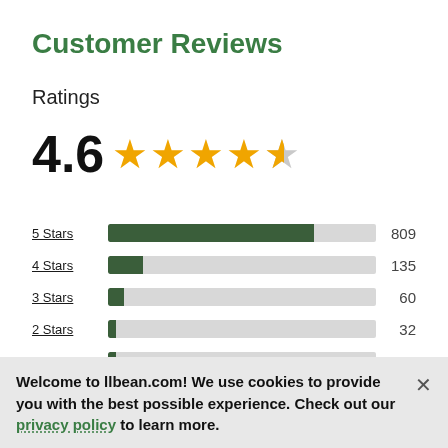Customer Reviews
Ratings
[Figure (other): Rating score 4.6 with 4.5 filled stars out of 5]
[Figure (bar-chart): Star rating distribution]
Customer Fit Feedback
Welcome to llbean.com! We use cookies to provide you with the best possible experience. Check out our privacy policy to learn more.